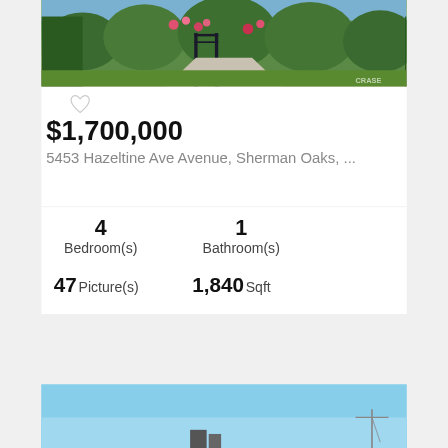[Figure (photo): Exterior photo of property showing garden with flowers, iron gate, and green hedges]
$1,700,000
5453 Hazeltine Ave Avenue, Sherman Oaks, ...
4 Bedroom(s)
1 Bathroom(s)
47 Picture(s)
1,840 Sqft
[Figure (photo): Exterior photo of property showing blue sky and building structure]